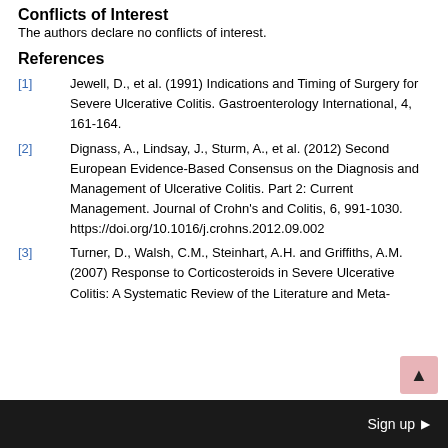Conflicts of Interest
The authors declare no conflicts of interest.
References
[1] Jewell, D., et al. (1991) Indications and Timing of Surgery for Severe Ulcerative Colitis. Gastroenterology International, 4, 161-164.
[2] Dignass, A., Lindsay, J., Sturm, A., et al. (2012) Second European Evidence-Based Consensus on the Diagnosis and Management of Ulcerative Colitis. Part 2: Current Management. Journal of Crohn's and Colitis, 6, 991-1030. https://doi.org/10.1016/j.crohns.2012.09.002
[3] Turner, D., Walsh, C.M., Steinhart, A.H. and Griffiths, A.M. (2007) Response to Corticosteroids in Severe Ulcerative Colitis: A Systematic Review of the Literature and Meta-
Sign up